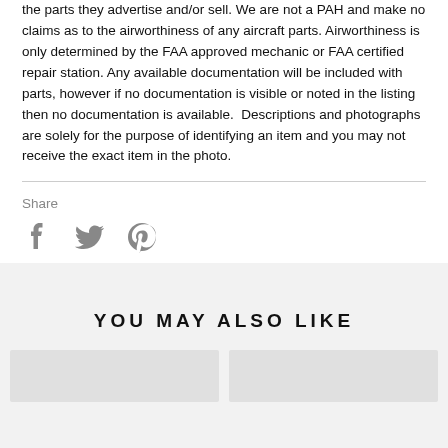the parts they advertise and/or sell. We are not a PAH and make no claims as to the airworthiness of any aircraft parts. Airworthiness is only determined by the FAA approved mechanic or FAA certified repair station. Any available documentation will be included with parts, however if no documentation is visible or noted in the listing then no documentation is available. Descriptions and photographs are solely for the purpose of identifying an item and you may not receive the exact item in the photo.
Share
[Figure (infographic): Social sharing icons: Facebook (f), Twitter (bird), Pinterest (p) in gray]
YOU MAY ALSO LIKE